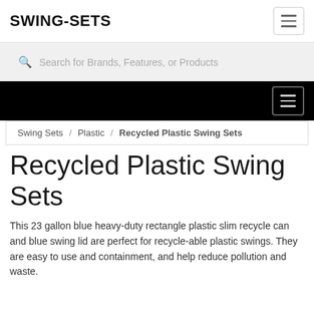SWING-SETS
Search for Brands, Features, or Products
Recycled Plastic Swing Sets
Swing Sets / Plastic / Recycled Plastic Swing Sets
Recycled Plastic Swing Sets
This 23 gallon blue heavy-duty rectangle plastic slim recycle can and blue swing lid are perfect for recycle-able plastic swings. They are easy to use and containment, and help reduce pollution and waste.